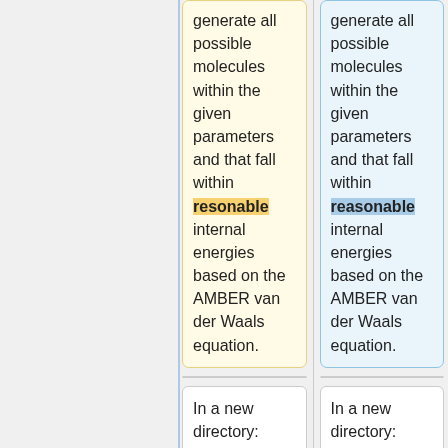generate all possible molecules within the given parameters and that fall within reasonable internal energies based on the AMBER van der Waals equation.
generate all possible molecules within the given parameters and that fall within reasonable internal energies based on the AMBER van der Waals equation.
In a new directory:
In a new directory:
Line 140:
Line 140:
Although we've generated a variety of new molecules, all composed of the
Although we've generated a variety of new molecules, all composed of the